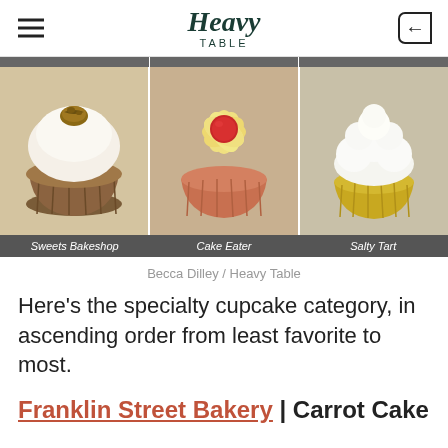Heavy Table
[Figure (photo): Three cupcakes side by side from Sweets Bakeshop, Cake Eater, and Salty Tart bakeries, with labels below on a dark bar]
Becca Dilley / Heavy Table
Here's the specialty cupcake category, in ascending order from least favorite to most.
Franklin Street Bakery | Carrot Cake